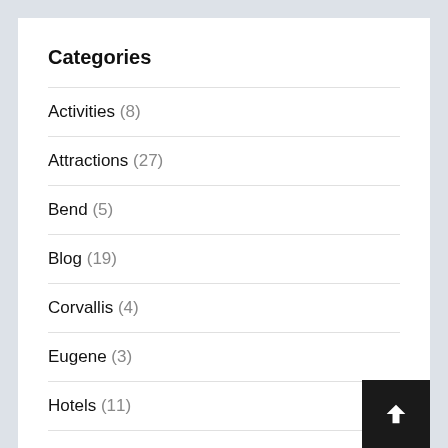Categories
Activities (8)
Attractions (27)
Bend (5)
Blog (19)
Corvallis (4)
Eugene (3)
Hotels (11)
Newport (1)